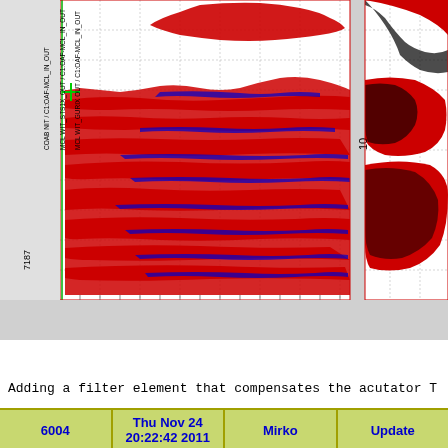[Figure (continuous-plot): Two side-by-side scientific/engineering time-series or spectral plots with red and blue filled data traces on a white grid background. Left panel shows dense red/blue waveforms with axis label '10' and rotated text labels including 'MCL WIT_GURIX OUT / C1:OAF-MCL_IN_OUT', 'MCL WIT_STS1X_OUT / C1:OAF-MCL_IN_OUT', 'COAB NIT / C1:OAF-MCL_IN_OUT', and vertical number '7187'. Right panel shows similar waveforms with axis label '10'. Both panels have dotted grid lines.]
Adding a filter element that compensates the acutator T
6004 | Thu Nov 24 20:22:42 2011 | Mirko | Update